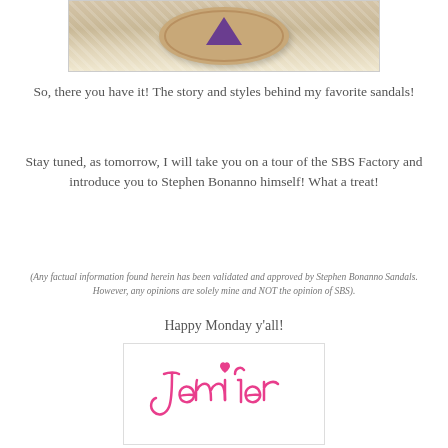[Figure (photo): Photo of a leather oval sandal sole with a purple triangle/mountain design on a wicker basket background]
So, there you have it! The story and styles behind my favorite sandals!
Stay tuned, as tomorrow, I will take you on a tour of the SBS Factory and introduce you to Stephen Bonanno himself! What a treat!
(Any factual information found herein has been validated and approved by Stephen Bonanno Sandals. However, any opinions are solely mine and NOT the opinion of SBS).
Happy Monday y'all!
[Figure (illustration): Handwritten cursive signature reading 'Jennifer' with a pink heart above the i, in pink script]